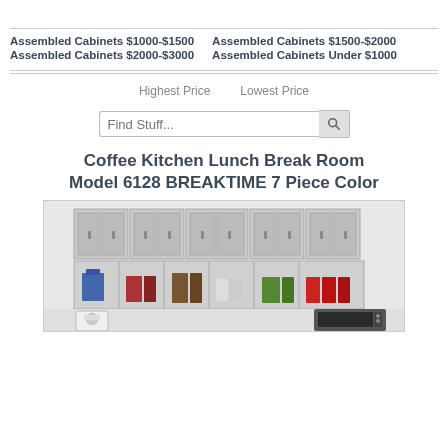Assembled Cabinets $1000-$1500   Assembled Cabinets $1500-$2000
Assembled Cabinets $2000-$3000   Assembled Cabinets Under $1000
Highest Price    Lowest Price
Find Stuff...
Coffee Kitchen Lunch Break Room Model 6128 BREAKTIME 7 Piece Color
[Figure (photo): Photo of a gray 7-piece breakroom cabinet set (BREAKTIME Model 6128) showing upper wall cabinets with silver handles, an open cubby shelf below with various food and drink items, a coffee maker on the left, and a microwave on the lower right.]